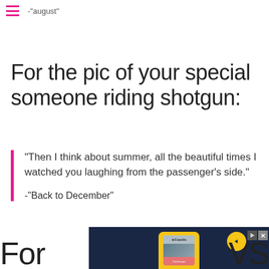-"august"
For the pic of your special someone riding shotgun:
"Then I think about summer, all the beautiful times I watched you laughing from the passenger's side."

-"Back to December"
[Figure (screenshot): Advertisement showing Expedia app on a yellow phone against a dark blue background, with Expedia logo and play/close buttons]
For